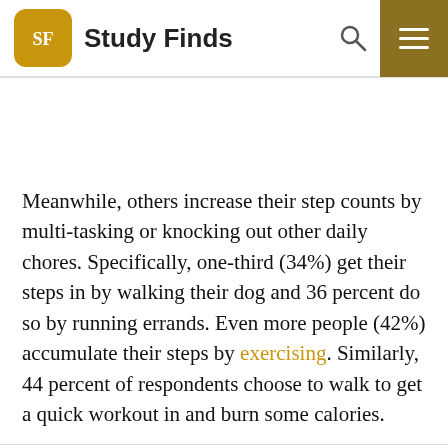Study Finds
Meanwhile, others increase their step counts by multi-tasking or knocking out other daily chores. Specifically, one-third (34%) get their steps in by walking their dog and 36 percent do so by running errands. Even more people (42%) accumulate their steps by exercising. Similarly, 44 percent of respondents choose to walk to get a quick workout in and burn some calories.
“If you are starting to incorporate walking as